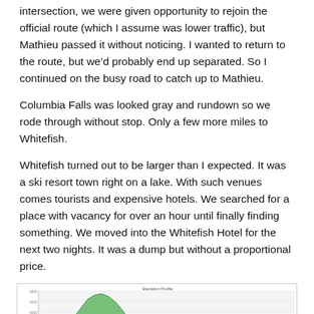intersection, we were given opportunity to rejoin the official route (which I assume was lower traffic), but Mathieu passed it without noticing. I wanted to return to the route, but we'd probably end up separated. So I continued on the busy road to catch up to Mathieu.
Columbia Falls was looked gray and rundown so we rode through without stop. Only a few more miles to Whitefish.
Whitefish turned out to be larger than I expected. It was a ski resort town right on a lake. With such venues comes tourists and expensive hotels. We searched for a place with vacancy for over an hour until finally finding something. We moved into the Whitefish Hotel for the next two nights. It was a dump but without a proportional price.
[Figure (area-chart): An elevation profile chart showing terrain with a prominent peak in the left-center area and smaller undulations toward the right. The area under the curve is filled with green. X-axis shows distance markers, y-axis shows elevation values.]